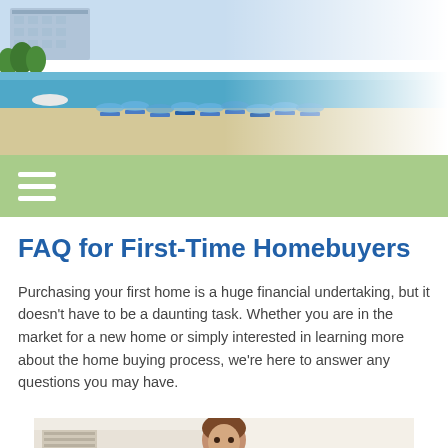[Figure (photo): Beach scene with ocean, sand, beach chairs, and waterfront hotel buildings in the background. Photo fades to white on the right side.]
[Figure (other): Green navigation bar with white hamburger menu icon (three horizontal lines) on the left.]
FAQ for First-Time Homebuyers
Purchasing your first home is a huge financial undertaking, but it doesn't have to be a daunting task. Whether you are in the market for a new home or simply interested in learning more about the home buying process, we're here to answer any questions you may have.
[Figure (photo): Partial photo of a man in a bright interior room, cropped at the bottom of the page.]